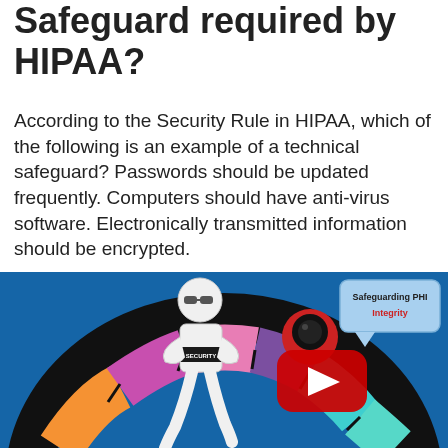Safeguard required by HIPAA?
According to the Security Rule in HIPAA, which of the following is an example of a technical safeguard? Passwords should be updated frequently. Computers should have anti-virus software. Electronically transmitted information should be encrypted.
[Figure (screenshot): YouTube video thumbnail showing a white stick figure wearing SECURITY label and sunglasses, a camera/security device, a colorful arc/wheel, and a speech bubble reading 'Safeguarding PHI Integrity' on a blue background. A YouTube play button is overlaid in the center.]